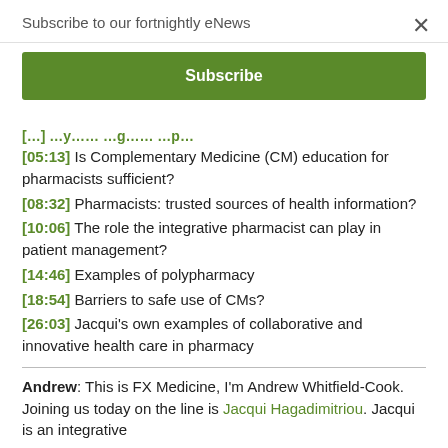Subscribe to our fortnightly eNews
Subscribe
[05:13] Is Complementary Medicine (CM) education for pharmacists sufficient?
[08:32] Pharmacists: trusted sources of health information?
[10:06] The role the integrative pharmacist can play in patient management?
[14:46] Examples of polypharmacy
[18:54] Barriers to safe use of CMs?
[26:03] Jacqui's own examples of collaborative and innovative health care in pharmacy
Andrew: This is FX Medicine, I'm Andrew Whitfield-Cook. Joining us today on the line is Jacqui Hagadimitriou. Jacqui is an integrative